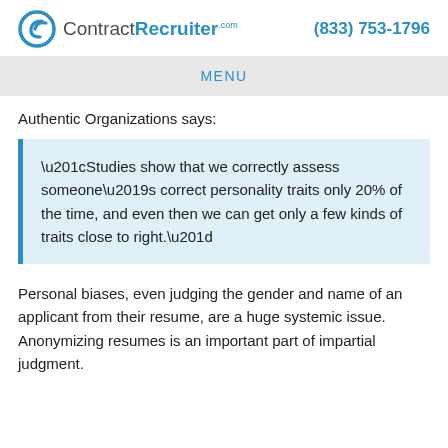ContractRecruiter.com  (833) 753-1796
MENU
Authentic Organizations says:
“Studies show that we correctly assess someone’s correct personality traits only 20% of the time, and even then we can get only a few kinds of traits close to right.”
Personal biases, even judging the gender and name of an applicant from their resume, are a huge systemic issue. Anonymizing resumes is an important part of impartial judgment.